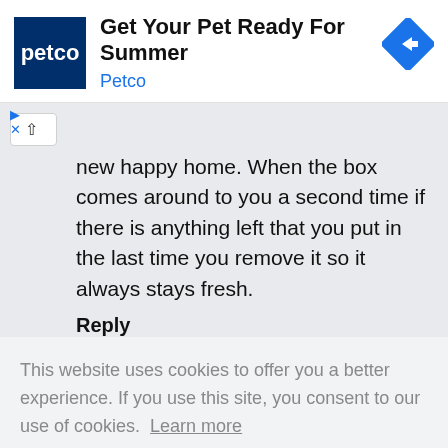[Figure (screenshot): Petco advertisement banner with logo, headline 'Get Your Pet Ready For Summer', brand name 'Petco', and a blue diamond direction arrow icon]
new happy home. When the box comes around to you a second time if there is anything left that you put in the last time you remove it so it always stays fresh.
Reply
This website uses cookies to offer you a better experience. If you use this site, you consent to our use of cookies. Learn more
I Agree